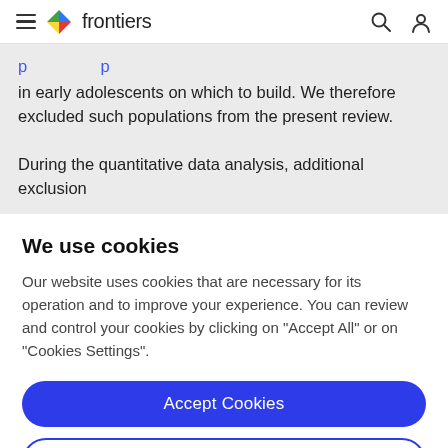frontiers
in early adolescents on which to build. We therefore excluded such populations from the present review.

During the quantitative data analysis, additional exclusion
We use cookies
Our website uses cookies that are necessary for its operation and to improve your experience. You can review and control your cookies by clicking on "Accept All" or on "Cookies Settings".
Accept Cookies
Cookies Settings